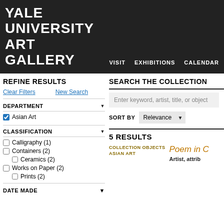YALE UNIVERSITY ART GALLERY
REFINE RESULTS
Clear Filters   New Search
DEPARTMENT
Asian Art (checked)
CLASSIFICATION
Calligraphy (1)
Containers (2)
Ceramics (2)
Works on Paper (2)
Prints (2)
DATE MADE
SEARCH THE COLLECTION
Enter keyword, artist, title, or object
SORT BY   Relevance
5 RESULTS
COLLECTION OBJECTS
ASIAN ART
Poem in C
Artist, attrib